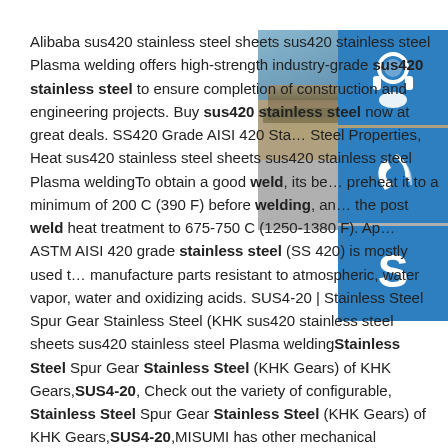Alibaba sus420 stainless steel sheets sus420 stainless steel Plasma welding offers high-strength industry-grade sus420 stainless steel to ensure completion of construction and engineering projects. Buy sus420 stainless steel now at great deals. SS420 Grade AISI 420 Sta… Steel Properties, Heat sus420 stainless steel sheets sus420 stainless steel Plasma weldingTo obtain a good weld, its be… preheat it to a minimum of 200 C (390 F) before welding, an… the post weld heat treatment to 675-750 C (1250-1380 F). Ap… ASTM AISI 420 grade stainless steel (SS 420) is mostly used t… manufacture parts resistant to atmospheric, water vapor, water and oxidizing acids. SUS4-20 | Stainless Steel Spur Gear Stainless Steel (KHK sus420 stainless steel sheets sus420 stainless steel Plasma weldingStainless Steel Spur Gear Stainless Steel (KHK Gears) of KHK Gears,SUS4-20, Check out the variety of configurable, Stainless Steel Spur Gear Stainless Steel (KHK Gears) of KHK Gears,SUS4-20,MISUMI has other mechanical components, Press Die, and Plastic
[Figure (photo): Industrial steel plates in a factory setting, blue icon buttons for contact (headset, phone, Skype)]